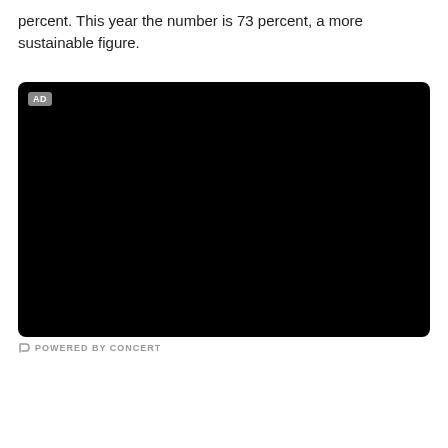percent. This year the number is 73 percent, a more sustainable figure.
[Figure (other): Black rectangular advertisement embed with an 'AD' label badge in the top-left corner]
POWERED BY CONCERT